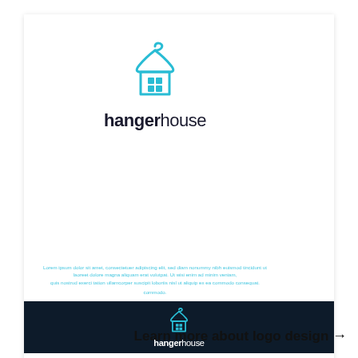[Figure (logo): Hanger house logo: cyan hanger-shaped house icon with 4-pane window, bold 'hanger' + regular 'house' wordmark in dark navy]
Lorem ipsum dolor sit amet, consectetuer adipiscing elit, sed diam nonummy nibh euismod tincidunt ut laoreet dolore magna aliquam erat volutpat. Ut wisi enim ad minim veniam, quis nostrud exerci tation ullamcorper suscipit lobortis nisl ut aliquip ex ea commodo consequat.
[Figure (logo): Hanger house logo on dark navy background: white/cyan hanger-house icon with white 'hangerhouse' wordmark]
by Studio.Ghi
Learn more about logo design →